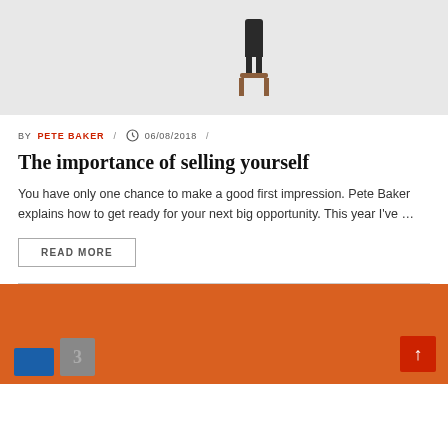[Figure (photo): Person standing on a small wooden stool against a light gray background, viewed from a distance]
BY PETE BAKER / 06/08/2018 /
The importance of selling yourself
You have only one chance to make a good first impression. Pete Baker explains how to get ready for your next big opportunity. This year I've …
READ MORE
[Figure (photo): Orange background with objects including a blue item and a metallic number 3, with a red scroll-to-top arrow button in the bottom right corner]